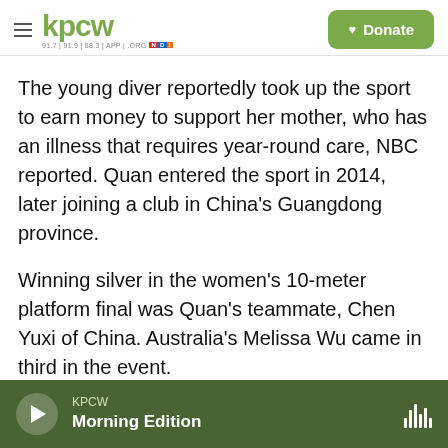kpcw — Donate
The young diver reportedly took up the sport to earn money to support her mother, who has an illness that requires year-round care, NBC reported. Quan entered the sport in 2014, later joining a club in China's Guangdong province.
Winning silver in the women's 10-meter platform final was Quan's teammate, Chen Yuxi of China. Australia's Melissa Wu came in third in the event.
Copyright 2021 NPR. To see more, visit https://www.npr.org.
KPCW Morning Edition